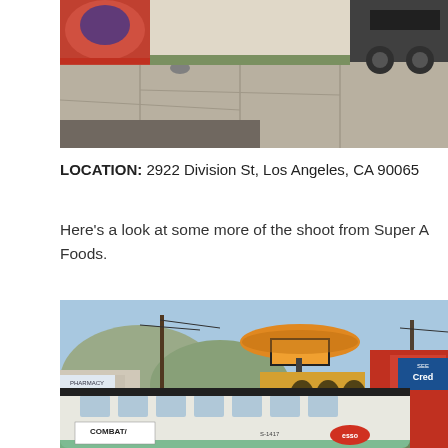[Figure (photo): Street-level photo showing a sidewalk with cracked concrete, a colorful mural on a building wall to the left, and a large truck visible on the right side. The scene is Los Angeles urban street.]
LOCATION: 2922 Division St, Los Angeles, CA 90065
Here's a look at some more of the shoot from Super A Foods.
[Figure (photo): Street photo showing a vintage white bus with 'COMBAT' text on its side, parked in front of a commercial strip. There is a large sombrero-shaped restaurant sign visible above, palm tree decorations, a pharmacy sign, and a red building with 'See Credit' signage on the right.]